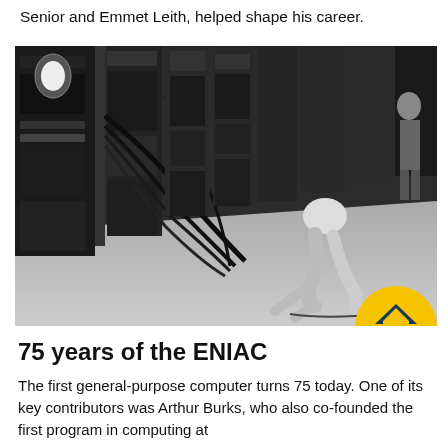Senior and Emmet Leith, helped shape his career.
[Figure (photo): Black and white photograph of the ENIAC computer. A person is crouching on the floor working on the large machine, which is filled with cables, panels and switches. Another person stands in the background. A gold 'TOP' button is overlaid on the bottom-right corner of the image.]
75 years of the ENIAC
The first general-purpose computer turns 75 today. One of its key contributors was Arthur Burks, who also co-founded the first program in computing at